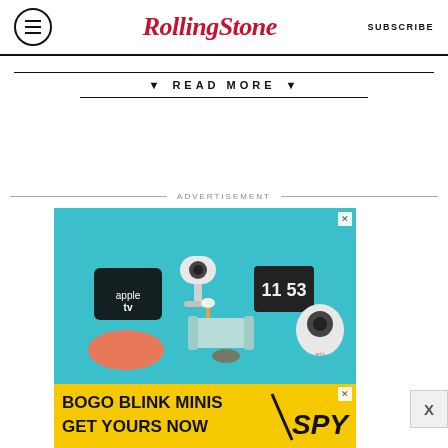RollingStone — SUBSCRIBE
▼ READ MORE ▼
ADVERTISEMENT
[Figure (photo): Advertisement image showing smart home devices including Apple TV box, Google Home mini speaker, a white security camera on a stand, a miniature living room sofa set, a digital clock display showing 11:53, and an Arlo security camera, all on a teal/blue background.]
[Figure (photo): Yellow banner advertisement reading BOGO BLINK MINIS GET YOURS NOW with SPY logo on the right side.]